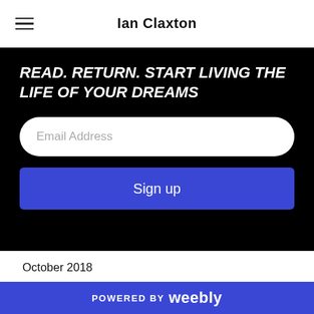Ian Claxton
READ. RETURN. START LIVING THE LIFE OF YOUR DREAMS
Email Address
Sign up
October 2018
September 2018
August 2018
July 2018
June 2018
May 2018
April 2018
March 2018
POWERED BY weebly